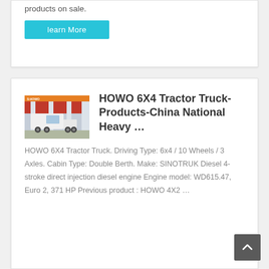products on sale.
learn More
[Figure (photo): HOWO 6X4 tractor truck parked in front of a building with red and yellow signage]
HOWO 6X4 Tractor Truck-Products-China National Heavy …
HOWO 6X4 Tractor Truck. Driving Type: 6x4 / 10 Wheels / 3 Axles. Cabin Type: Double Berth. Make: SINOTRUK Diesel 4-stroke direct injection diesel engine Engine model: WD615.47, Euro 2, 371 HP Previous product : HOWO 4X2 …